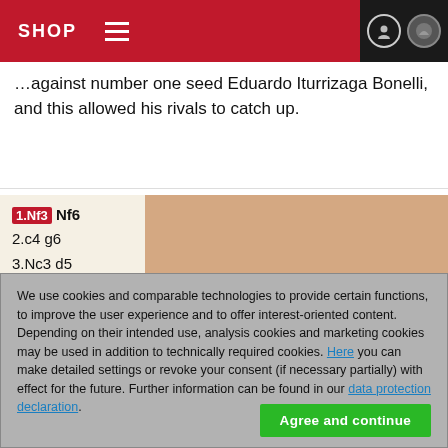SHOP
...against number one seed Eduardo Iturrizaga Bonelli, and this allowed his rivals to catch up.
1.Nf3 Nf6 2.c4 g6 3.Nc3 d5 4.cxd5 Nxd5 5.Qb3 Nb6 6.d4
[Figure (other): Chess board position diagram]
We use cookies and comparable technologies to provide certain functions, to improve the user experience and to offer interest-oriented content. Depending on their intended use, analysis cookies and marketing cookies may be used in addition to technically required cookies. Here you can make detailed settings or revoke your consent (if necessary partially) with effect for the future. Further information can be found in our data protection declaration.